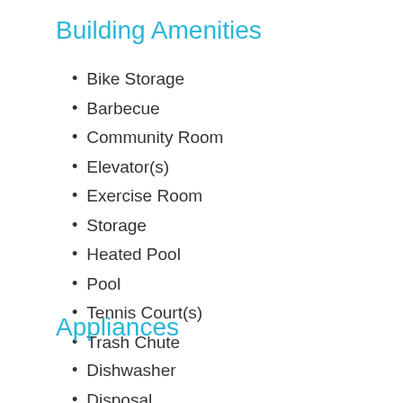Building Amenities
Bike Storage
Barbecue
Community Room
Elevator(s)
Exercise Room
Storage
Heated Pool
Pool
Tennis Court(s)
Trash Chute
Appliances
Dishwasher
Disposal